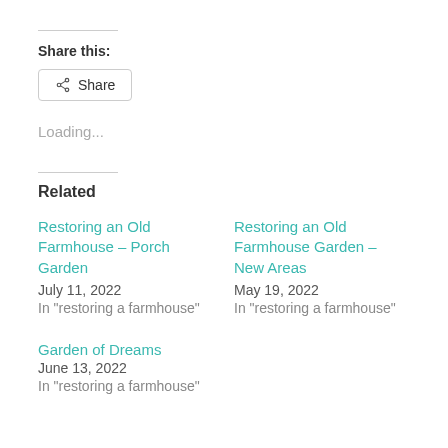Share this:
Share (button)
Loading...
Related
Restoring an Old Farmhouse – Porch Garden
July 11, 2022
In "restoring a farmhouse"
Restoring an Old Farmhouse Garden – New Areas
May 19, 2022
In "restoring a farmhouse"
Garden of Dreams
June 13, 2022
In "restoring a farmhouse"